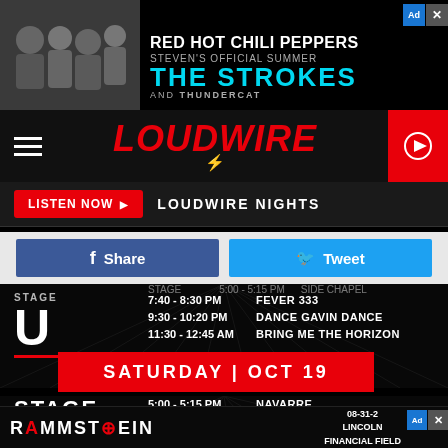[Figure (screenshot): Advertisement banner for Red Hot Chili Peppers / The Strokes / Thundercat concert with black and white photo on left]
[Figure (logo): Loudwire logo in red italic bold font with lightning bolt]
LISTEN NOW ▶  LOUDWIRE NIGHTS
Share
Tweet
STAGE U
7:40 - 8:30 PM  FEVER 333
9:30 - 10:20 PM  DANCE GAVIN DANCE
11:30 - 12:45 AM  BRING ME THE HORIZON
SATURDAY | OCT 19
5:00 - 5:15 PM  NAVARRE
5:40 - 5:55 PM  TAKING DAWN
6:30 - 7:15 PM  WHITE CHAPEL
STAGE E
[Figure (screenshot): Rammstein advertisement banner with date 08-31-2 and Lincoln Financial Field text]